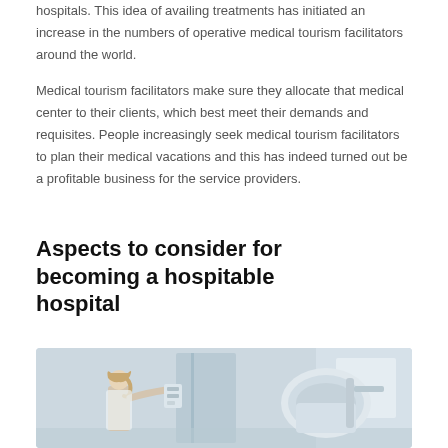hospitals. This idea of availing treatments has initiated an increase in the numbers of operative medical tourism facilitators around the world.
Medical tourism facilitators make sure they allocate that medical center to their clients, which best meet their demands and requisites. People increasingly seek medical tourism facilitators to plan their medical vacations and this has indeed turned out be a profitable business for the service providers.
Aspects to consider for becoming a hospitable hospital
[Figure (photo): A healthcare professional, a woman with blonde hair in a ponytail, operating or adjusting medical imaging equipment in a clinical setting. The background shows a bright, clinical room with white walls and medical devices.]